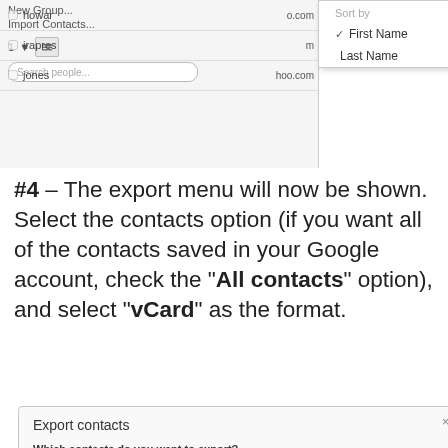[Figure (screenshot): Screenshot of Google Contacts interface showing contact list with howar, irapres, jones entries and a Sort by dropdown menu with First Name checked and Last Name option]
#4 – The export menu will now be shown. Select the contacts option (if you want all of the contacts saved in your Google account, check the "All contacts" option), and select "vCard" as the format.
[Figure (screenshot): Export contacts dialog box showing options: Which contacts do you want to export? with Selected contacts (0), The group My Contacts (9), All contacts (9) selected. Which export format? with Google CSV format, Outlook CSV format, vCard format options.]